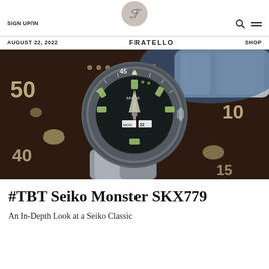SIGN UP/IN | FRATELLO | SHOP
AUGUST 22, 2022 | FRATELLO | SHOP
[Figure (photo): Close-up photo of a Seiko Monster SKX779 diver watch placed on top of a larger dark-colored watch bezel. The smaller watch has a black dial with green luminous markers and hands, a silver rotating bezel with white markings, and a stainless steel bracelet. The larger watch underneath shows a dark brown/black bezel with large luminous hour markers and the numbers 50, 45, 10 visible around the bezel edge.]
#TBT Seiko Monster SKX779
An In-Depth Look at a Seiko Classic